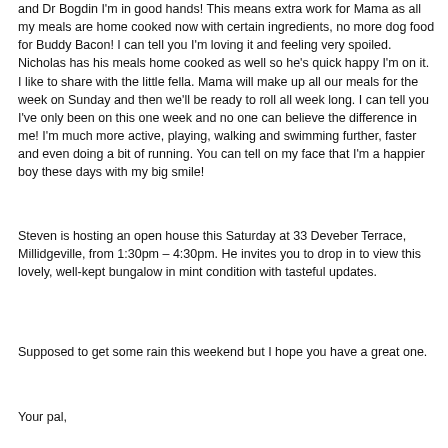and Dr Bogdin I'm in good hands!  This means extra work for Mama as all my meals are home cooked now with certain ingredients, no more dog food for Buddy Bacon!  I can tell you I'm loving it and feeling very spoiled.  Nicholas has his meals home cooked as well so he's quick happy I'm on it.  I like to share with the little fella.  Mama will make up all our meals for the week on Sunday and then we'll be ready to roll all week long.  I can tell you I've only been on this one week and no one can believe the difference in me!  I'm much more active, playing, walking and swimming further, faster and even doing a bit of running.  You can tell on my face that I'm a happier boy these days with my big smile!
Steven is hosting an open house this Saturday at 33 Deveber Terrace, Millidgeville, from 1:30pm – 4:30pm.  He invites you to drop in to view this lovely, well-kept bungalow in mint condition with tasteful updates.
Supposed to get some rain this weekend but I hope you have a great one.
Your pal,